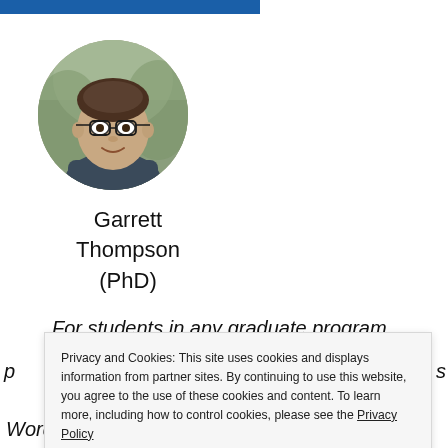[Figure (photo): Circular profile photo of Garrett Thompson (PhD), a man wearing glasses, smiling outdoors.]
Garrett Thompson (PhD)
For students in any graduate program,
Privacy and Cookies: This site uses cookies and displays information from partner sites. By continuing to use this website, you agree to the use of these cookies and content. To learn more, including how to control cookies, please see the Privacy Policy
Close and accept
Word.... Students eager to take their work to